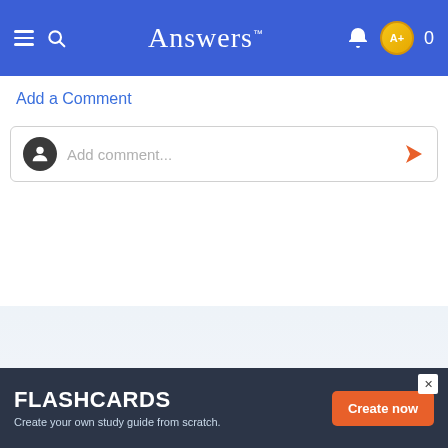Answers™
Add a Comment
[Figure (screenshot): Comment input box with user avatar, placeholder text 'Add comment...' and a send arrow button]
FLASHCARDS Create your own study guide from scratch. Create now